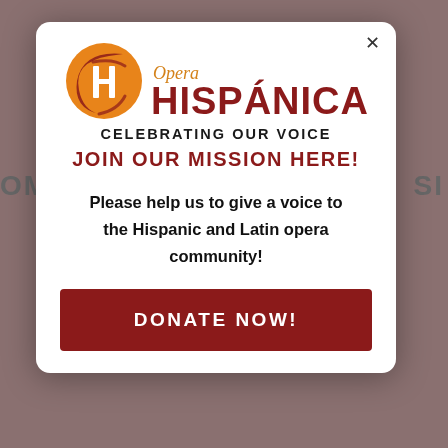[Figure (logo): Opera Hispanica logo with orange circle containing stylized H and red brush strokes, with text 'Opera HISPÁNICA CELEBRATING OUR VOICE']
JOIN OUR MISSION HERE!
Please help us to give a voice to the Hispanic and Latin opera community!
DONATE NOW!